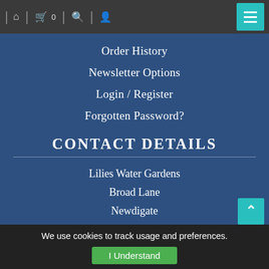Navigation bar with home, cart (0), search, user icons and menu button
Order History
Newsletter Options
Login / Register
Forgotten Password?
CONTACT DETAILS
Lilies Water Gardens
Broad Lane
Newdigate
Surrey
RH5 5AT
Tel: 01306 631864
Email: [partially visible]
We use cookies to track usage and preferences.
I Understand